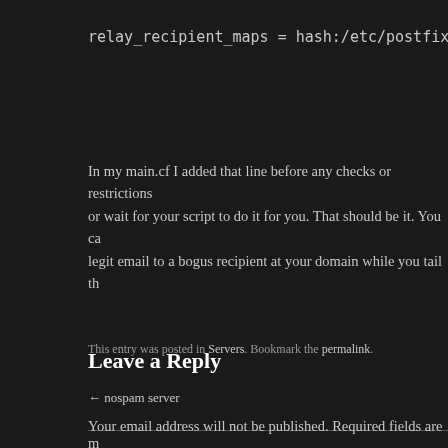relay_recipient_maps = hash:/etc/postfix/relay_recipients
In my main.cf I added that line before any checks or restrictions or wait for your script to do it for you. That should be it. You ca legit email to a bogus recipient at your domain while you tail th
This entry was posted in Servers. Bookmark the permalink.
← nospam server
Leave a Reply
Your email address will not be published. Required fields are m